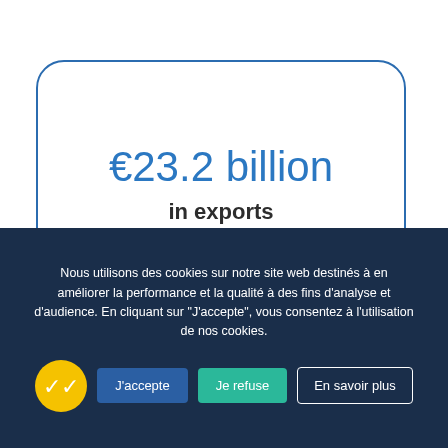[Figure (infographic): Rounded rectangle box with blue border containing a key statistic: €23.2 billion in exports by regional companies]
€23.2 billion in exports by regional companies
Nous utilisons des cookies sur notre site web destinés à en améliorer la performance et la qualité à des fins d'analyse et d'audience. En cliquant sur "J'accepte", vous consentez à l'utilisation de nos cookies.
J'accepte
Je refuse
En savoir plus